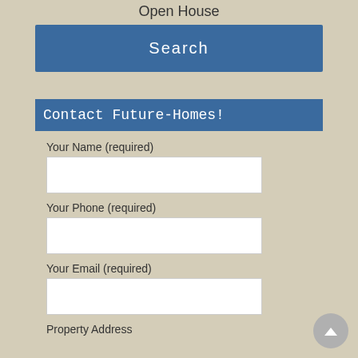Open House
Search
Contact Future-Homes!
Your Name (required)
Your Phone (required)
Your Email (required)
Property Address